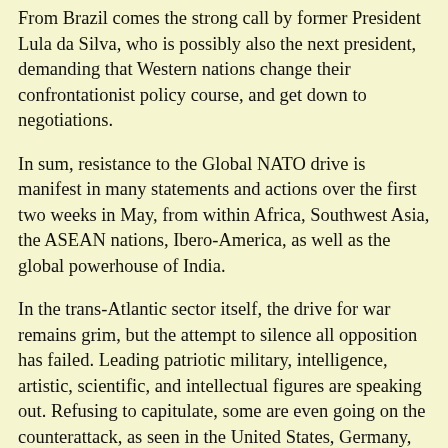From Brazil comes the strong call by former President Lula da Silva, who is possibly also the next president, demanding that Western nations change their confrontationist policy course, and get down to negotiations.
In sum, resistance to the Global NATO drive is manifest in many statements and actions over the first two weeks in May, from within Africa, Southwest Asia, the ASEAN nations, Ibero-America, as well as the global powerhouse of India.
In the trans-Atlantic sector itself, the drive for war remains grim, but the attempt to silence all opposition has failed. Leading patriotic military, intelligence, artistic, scientific, and intellectual figures are speaking out. Refusing to capitulate, some are even going on the counterattack, as seen in the United States, Germany, Italy, Greece, and Sweden. This has emboldened not only institutional layers to join them in speaking out, but spurred ordinary citizens to break out of frightened paralysis, and take to the streets, as seen in Sweden.